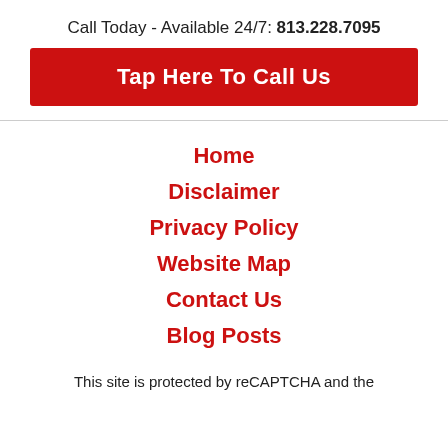Call Today - Available 24/7: 813.228.7095
Tap Here To Call Us
Home
Disclaimer
Privacy Policy
Website Map
Contact Us
Blog Posts
This site is protected by reCAPTCHA and the